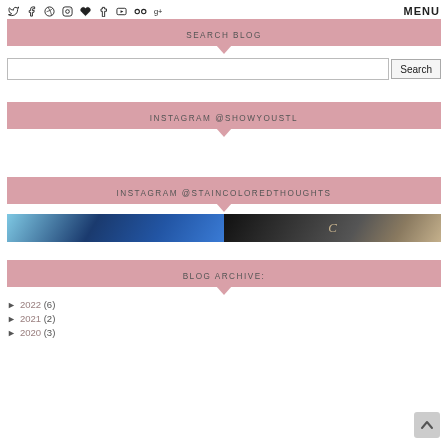Social icons: twitter, facebook, pinterest, instagram, heart, tumblr, youtube, flickr, google+ | MENU
SEARCH BLOG
Search
INSTAGRAM @SHOWYOUSTL
INSTAGRAM @STAINCOLOREDTHOUGHTS
[Figure (photo): Two Instagram photos: left shows blue architectural/street scene, right shows dark circular object with gold lettering C]
BLOG ARCHIVE:
► 2022 (6)
► 2021 (2)
► 2020 (3)